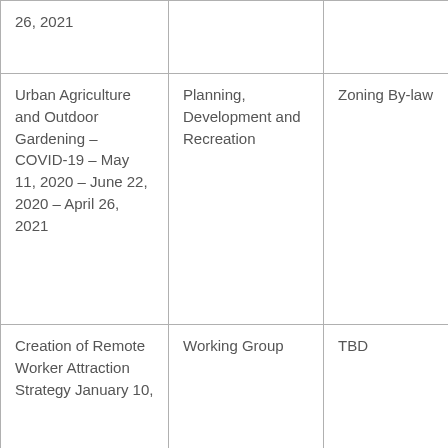| 26, 2021 |  |  |
| Urban Agriculture and Outdoor Gardening – COVID-19 – May 11, 2020 – June 22, 2020 – April 26, 2021 | Planning, Development and Recreation | Zoning By-law |
| Creation of Remote Worker Attraction Strategy January 10, | Working Group | TBD |